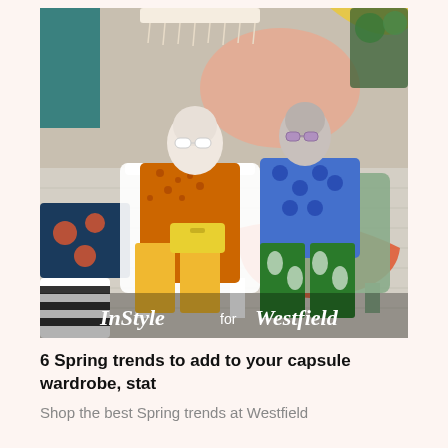[Figure (photo): Two older women sitting on garden chairs in colorful spring outfits. Left woman wears orange leopard print top, yellow trousers, orange sandals, white sunglasses, and holds a yellow clutch. Right woman wears a blue geometric print dress and green floral trousers with white heeled sandals and lavender sunglasses. Colorful background with floral cushions, geometric wall art, and plants. Overlay text reads 'InStyle for Westfield'.]
6 Spring trends to add to your capsule wardrobe, stat
Shop the best Spring trends at Westfield